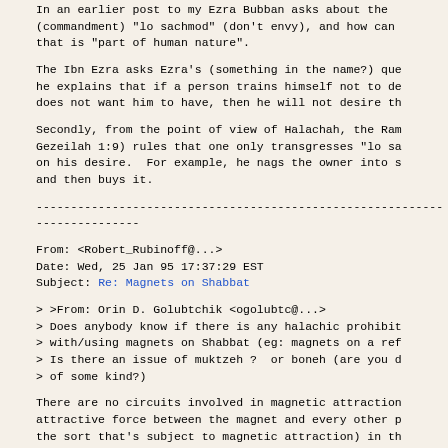In an earlier post to my Ezra Bubban asks about the (commandment) "lo sachmod" (don't envy), and how can that is "part of human nature".
The Ibn Ezra asks Ezra's (something in the name?) que he explains that if a person trains himself not to de does not want him to have, then he will not desire th
Secondly, from the point of view of Halachah, the Ram Gezeilah 1:9) rules that one only transgresses "lo sa on his desire.  For example, he nags the owner into s and then buys it.
--------------------------------------------------------------------------
From: <Robert_Rubinoff@...>
Date: Wed, 25 Jan 95 17:37:29 EST
Subject: Re: Magnets on Shabbat
> >From: Orin D. Golubtchik <ogolubtc@...>
> Does anybody know if there is any halachic prohibit
> with/using magnets on Shabbat (eg: magnets on a ref
> Is there an issue of muktzeh ?  or boneh (are you d
> of some kind?)
There are no circuits involved in magnetic attraction attractive force between the magnet and every other p the sort that's subject to magnetic attraction) in th Putting the magnet on (or close to) the refrigerator